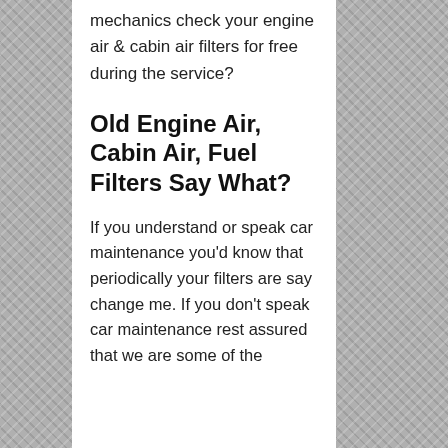mechanics check your engine air & cabin air filters for free during the service?
Old Engine Air, Cabin Air, Fuel Filters Say What?
If you understand or speak car maintenance you'd know that periodically your filters are say change me. If you don't speak car maintenance rest assured that we are some of the